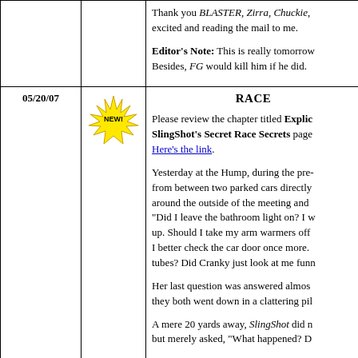Thank you BLASTER, Zirra, Chuckie, excited and reading the mail to me.
Editor's Note: This is really tomorrow. Besides, FG would kill him if he did.
05/20/07
[Figure (illustration): Yellow spiky NEW! badge/starburst icon]
RACE
Please review the chapter titled Explicit SlingShot's Secret Race Secrets page. Here's the link.
Yesterday at the Hump, during the pre- from between two parked cars directly around the outside of the meeting and "Did I leave the bathroom light on? I w up. Should I take my arm warmers off I better check the car door once more. tubes? Did Cranky just look at me funn
Her last question was answered almos they both went down in a clattering pil
A mere 20 yards away, SlingShot did n but merely asked, "What happened? D
Everybody else only remembers hearin left." "Right." "NO... your other left."